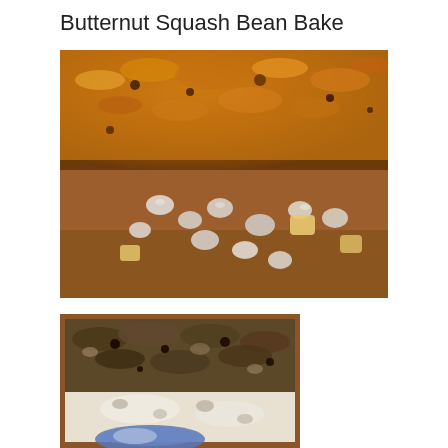Butternut Squash Bean Bake
[Figure (photo): Close-up of butternut squash bean bake with golden crispy breadcrumb topping, showing beans and chunks of squash underneath the crust]
[Figure (photo): Second view of butternut squash bean bake in a baking dish, darker breadcrumb topping with creamy sauce visible, blue spoon partially visible at bottom]